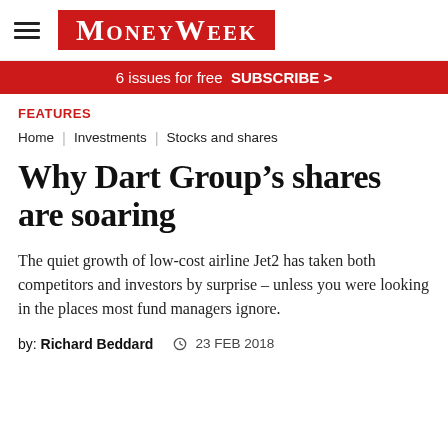MoneyWeek
6 issues for free  SUBSCRIBE >
FEATURES
Home | Investments | Stocks and shares
Why Dart Group’s shares are soaring
The quiet growth of low-cost airline Jet2 has taken both competitors and investors by surprise – unless you were looking in the places most fund managers ignore.
by: Richard Beddard  © 23 FEB 2018